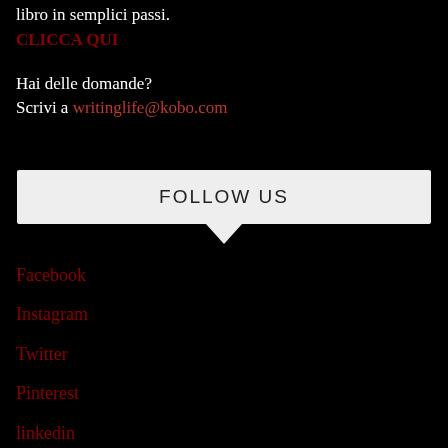libro in semplici passi.
CLICCA QUI
Hai delle domande?
Scrivi a writinglife@kobo.com
FOLLOW US
Facebook
Instagram
Twitter
Pinterest
linkedin
Newsletter